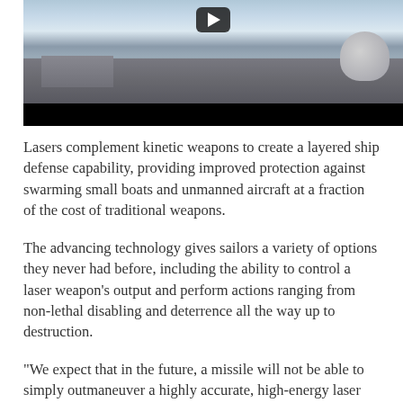[Figure (screenshot): A video screenshot showing a naval ship deck with a turret/radar dome structure on the right, the ship's grey deck and superstructure visible, sky in the background, with a black video control bar at the bottom and a play button overlay.]
Lasers complement kinetic weapons to create a layered ship defense capability, providing improved protection against swarming small boats and unmanned aircraft at a fraction of the cost of traditional weapons.
The advancing technology gives sailors a variety of options they never had before, including the ability to control a laser weapon's output and perform actions ranging from non-lethal disabling and deterrence all the way up to destruction.
“We expect that in the future, a missile will not be able to simply outmaneuver a highly accurate, high-energy laser